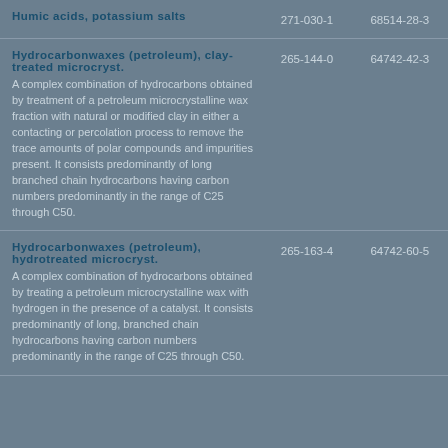| Substance name | EC number | CAS number |
| --- | --- | --- |
| Humic acids, potassium salts | 271-030-1 | 68514-28-3 |
| Hydrocarbonwaxes (petroleum), clay-treated microcryst.
A complex combination of hydrocarbons obtained by treatment of a petroleum microcrystalline wax fraction with natural or modified clay in either a contacting or percolation process to remove the trace amounts of polar compounds and impurities present. It consists predominantly of long branched chain hydrocarbons having carbon numbers predominantly in the range of C25 through C50. | 265-144-0 | 64742-42-3 |
| Hydrocarbonwaxes (petroleum), hydrotreated microcryst.
A complex combination of hydrocarbons obtained by treating a petroleum microcrystalline wax with hydrogen in the presence of a catalyst. It consists predominantly of long, branched chain hydrocarbons having carbon numbers predominantly in the range of C25 through C50. | 265-163-4 | 64742-60-5 |